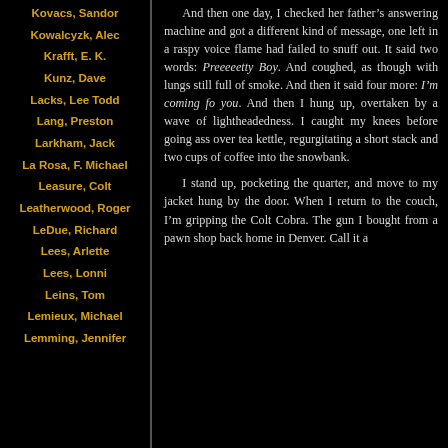Kovacs, Sandor
Kowalcyzk, Alec
Krafft, E. K.
Kunz, Dave
Lacks, Lee Todd
Lang, Preston
Larkham, Jack
La Rosa, F. Michael
Leasure, Colt
Leatherwood, Roger
LeDue, Richard
Lees, Arlette
Lees, Lonni
Leins, Tom
Lemieux, Michael
Lemming, Jennifer
And then one day, I checked her father’s answering machine and got a different kind of message, one left in a raspy voice flame had failed to snuff out. It said two words: Preeeeetty Boy. And coughed, as though with lungs still full of smoke. And then it said four more: I’m coming fo you. And then I hung up, overtaken by a wave of lightheadedness. I caught my knees before going ass over tea kettle, regurgitating a short stack and two cups of coffee into the snowbank.
I stand up, pocketing the quarter, and move to my jacket hung by the door. When I return to the couch, I’m gripping the Colt Cobra. The gun I bought from a pawn shop back home in Denver. Call it a